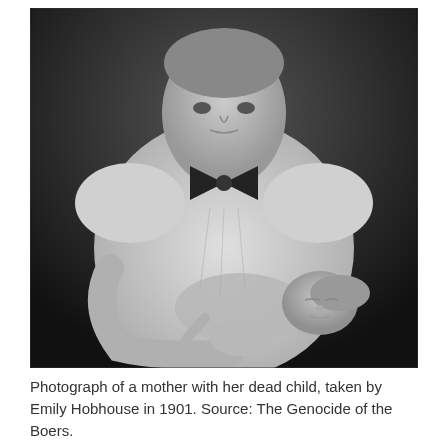[Figure (photo): Black and white historical photograph of a gaunt woman in a white blouse with a large black bow tie, holding a severely emaciated dead child in her arms. The background is dark. Photographed by Emily Hobhouse in 1901.]
Photograph of a mother with her dead child, taken by Emily Hobhouse in 1901. Source: The Genocide of the Boers.